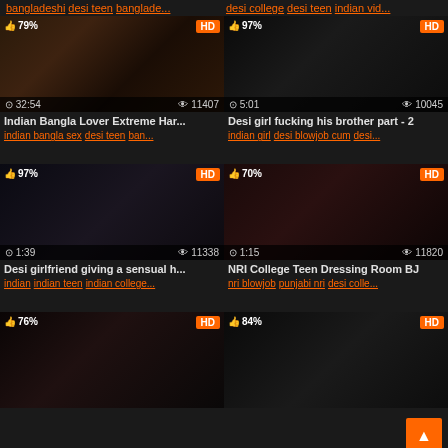bangladeshi desi teen banglade... | desi college desi teen indian vid...
[Figure (screenshot): Video thumbnail grid showing adult video content listings with thumbnails, HD badges, like percentages, duration and view counts]
Indian Bangla Lover Extreme Har... | indian bangla sex desi teen ban...
Desi girl fucking his brother part - 2 | indian girl desi blowjob cum desi...
Desi girlfriend giving a sensual h... | indian indian teen indian college...
NRI College Teen Dressing Room BJ | nri blowjob punjabi nri desi colle...